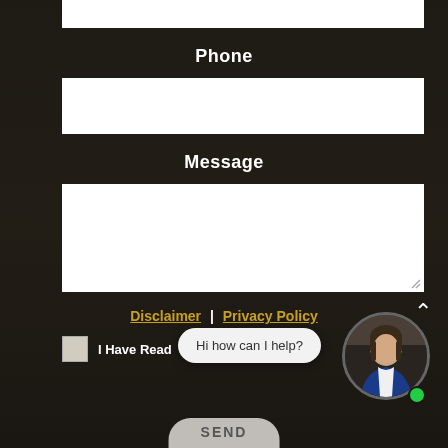Phone
[Figure (screenshot): Phone input field (white rectangle)]
Message
[Figure (screenshot): Message textarea (white rectangle)]
Disclaimer | Privacy Policy
I Have Read
Hi how can I help?
SEND